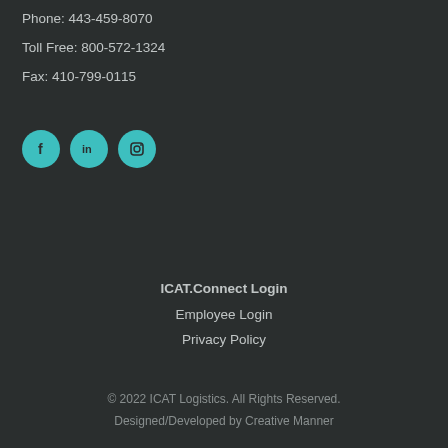Phone: 443-459-8070
Toll Free: 800-572-1324
Fax: 410-799-0115
[Figure (illustration): Three circular teal social media icons: Facebook (f), LinkedIn (in), Instagram (camera outline)]
ICAT.Connect Login
Employee Login
Privacy Policy
© 2022 ICAT Logistics. All Rights Reserved. Designed/Developed by Creative Manner